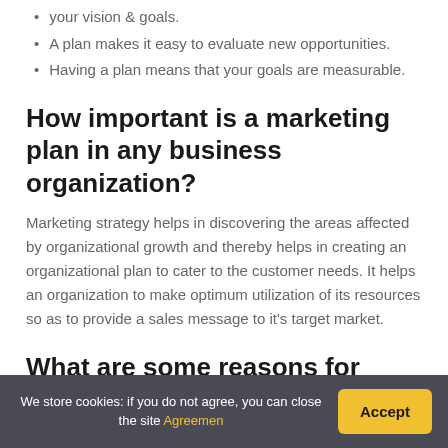your vision & goals.
A plan makes it easy to evaluate new opportunities.
Having a plan means that your goals are measurable.
How important is a marketing plan in any business organization?
Marketing strategy helps in discovering the areas affected by organizational growth and thereby helps in creating an organizational plan to cater to the customer needs. It helps an organization to make optimum utilization of its resources so as to provide a sales message to it's target market.
What are some reasons for failure of the marketing plan?
There can be multiple internal and external factors behind the
We store cookies: if you do not agree, you can close the site Agreemen